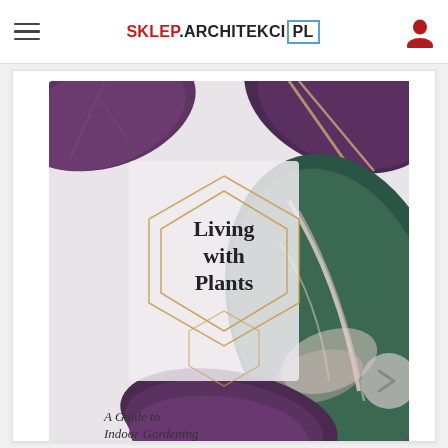SKLEP.ARCHITEKCI PL
[Figure (illustration): Book cover for 'Living with Plants: A Guide to Indoor Gardening' showing decorative tropical leaves (purple/dark foliage and green striped leaves) with a geometric hexagon frame containing the title text, on a light background. The cover features the text 'Living with Plants' inside a double hexagon gold outline, and 'A Guide to Indoor Gardening' at the bottom.]